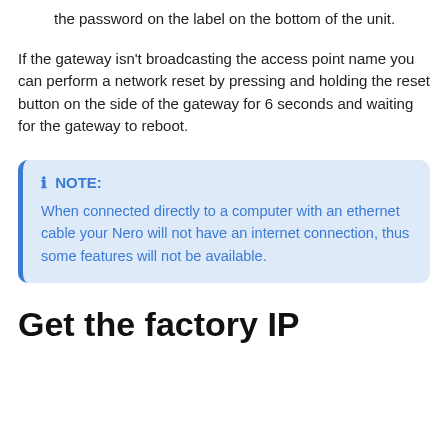the password on the label on the bottom of the unit.
If the gateway isn't broadcasting the access point name you can perform a network reset by pressing and holding the reset button on the side of the gateway for 6 seconds and waiting for the gateway to reboot.
NOTE: When connected directly to a computer with an ethernet cable your Nero will not have an internet connection, thus some features will not be available.
Get the factory IP